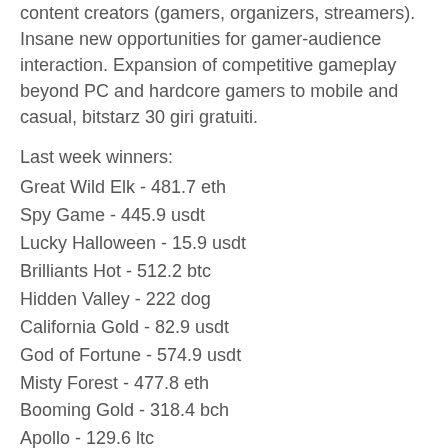content creators (gamers, organizers, streamers). Insane new opportunities for gamer-audience interaction. Expansion of competitive gameplay beyond PC and hardcore gamers to mobile and casual, bitstarz 30 giri gratuiti.
Last week winners:
Great Wild Elk - 481.7 eth
Spy Game - 445.9 usdt
Lucky Halloween - 15.9 usdt
Brilliants Hot - 512.2 btc
Hidden Valley - 222 dog
California Gold - 82.9 usdt
God of Fortune - 574.9 usdt
Misty Forest - 477.8 eth
Booming Gold - 318.4 bch
Apollo - 129.6 ltc
Gemstone of Aztec - 129.2 btc
Hot 27 - 66.5 bch
Treasure Kingdom - 678.8 bch